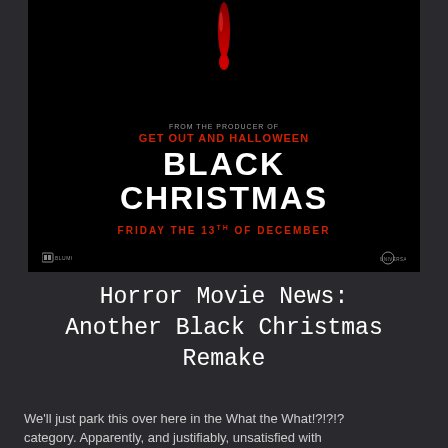[Figure (photo): Black Christmas movie poster on black background. Top half shows a dark, ominous dripping image in red and black. Center text reads: FROM THE PRODUCER OF GET OUT and HALLOWEEN in red. Large white bold text: BLACK CHRISTMAS. Below in red: FRIDAY THE 13TH OF DECEMBER. Studio logos at bottom.]
Horror Movie News: Another Black Christmas Remake
We'll just park this over here in the What the What!?!?!? category. Apparently, and justifiably, unsatisfied with